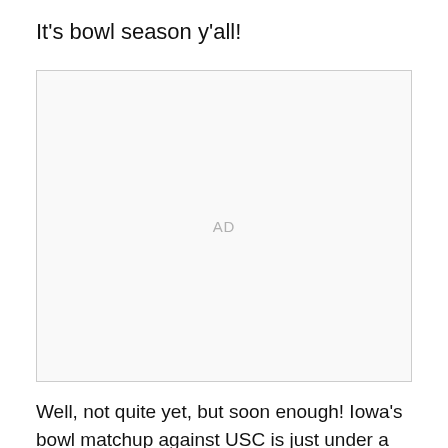It's bowl season y'all!
[Figure (other): Advertisement placeholder box with 'AD' label]
Well, not quite yet, but soon enough! Iowa's bowl matchup against USC is just under a two weeks away, believe it or not. So in advance of that trip, Iowa head coach Kirk Ferentz met with the media yesterday to discuss the Trojans, the end of the season and more.